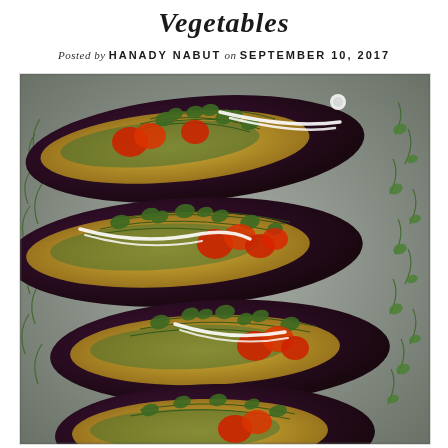Vegetables
Posted by HANADY NABUT on SEPTEMBER 10, 2017
[Figure (photo): Overhead photo of roasted eggplant halves topped with cherry tomatoes, microgreens, and white sauce/drizzle, arranged on a baking tray]